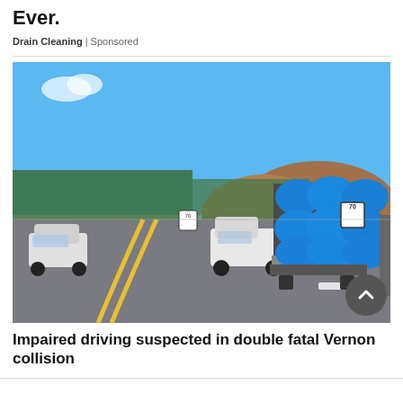Ever.
Drain Cleaning | Sponsored
[Figure (photo): Rear view of a flatbed truck loaded with large blue tarp-covered bales on a highway. A person stands in the road between lanes. A white pickup truck and a white sedan are visible on the opposite side. Hills and trees in background. Speed limit signs showing 70 visible on the right side.]
Impaired driving suspected in double fatal Vernon collision